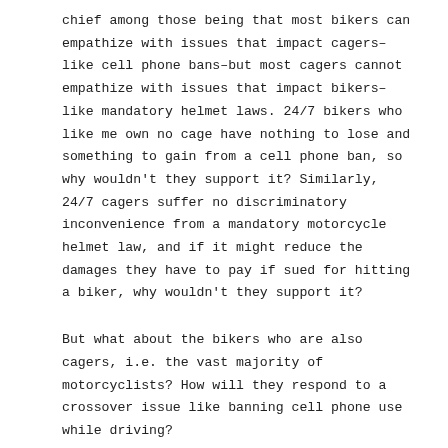chief among those being that most bikers can empathize with issues that impact cagers–like cell phone bans–but most cagers cannot empathize with issues that impact bikers–like mandatory helmet laws. 24/7 bikers who like me own no cage have nothing to lose and something to gain from a cell phone ban, so why wouldn't they support it? Similarly, 24/7 cagers suffer no discriminatory inconvenience from a mandatory motorcycle helmet law, and if it might reduce the damages they have to pay if sued for hitting a biker, why wouldn't they support it?
But what about the bikers who are also cagers, i.e. the vast majority of motorcyclists? How will they respond to a crossover issue like banning cell phone use while driving?